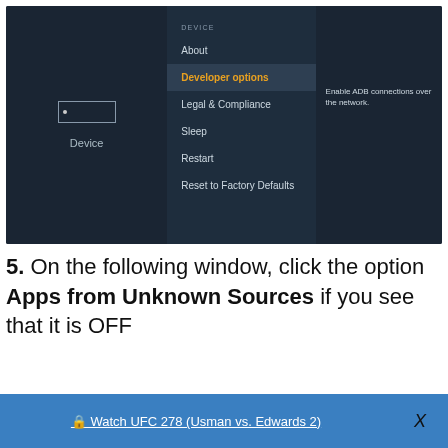[Figure (screenshot): Amazon Fire TV settings screen showing Device menu with Developer options highlighted in orange. Left panel shows a Device icon and label. Middle panel lists: DEVICE section header, About, Developer options (selected/highlighted), Legal & Compliance, Sleep, Restart, Reset to Factory Defaults. Right panel shows description: Enable ADB connections over the network.]
5. On the following window, click the option Apps from Unknown Sources if you see that it is OFF
🔒 Watch UFC 278 (Usman vs. Edwards 2)
X